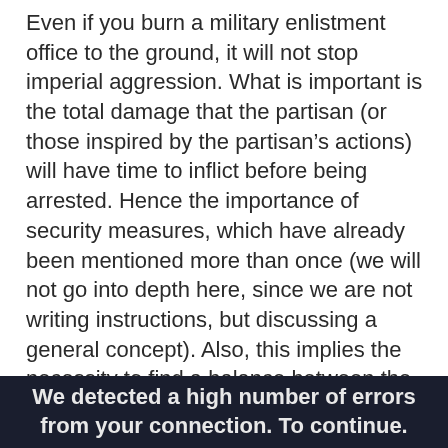Even if you burn a military enlistment office to the ground, it will not stop imperial aggression. What is important is the total damage that the partisan (or those inspired by the partisan's actions) will have time to inflict before being arrested. Hence the importance of security measures, which have already been mentioned more than once (we will not go into depth here, since we are not writing instructions, but discussing a general concept). Also, this implies the necessity to find a balance between the size of the group (which can increase the damage caused, and also allows for better security during the event) and the risks of information leakage.
We detected a high number of errors from your connection. To continue.